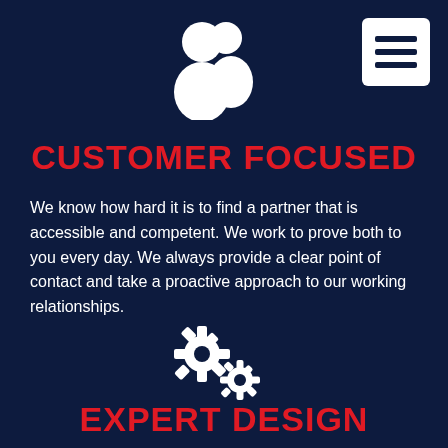[Figure (illustration): White people/users icon (two person silhouettes) on dark navy background, centered near top]
[Figure (illustration): White hamburger menu icon (three horizontal lines) inside white rounded rectangle, top right corner]
CUSTOMER FOCUSED
We know how hard it is to find a partner that is accessible and competent. We work to prove both to you every day. We always provide a clear point of contact and take a proactive approach to our working relationships.
[Figure (illustration): White gear/settings icon (two overlapping cog wheels) centered in lower half]
EXPERT DESIGN